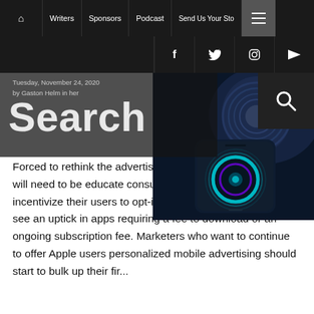🏠  Writers  Sponsors  Podcast  Send Us Your Sto… ☰
f  🐦  📷  RSS
Tuesday, November 24, 2020
by Gaston Helm in her
Search
[Figure (illustration): A glowing smartphone with a circular neon light element on a dark blue background, suggesting digital/tech theme]
Forced to rethink the advertising model of today, developers will need to be educate consumers about privacy to incentivize their users to opt-in. Consumers could expect to see an uptick in apps requiring a fee to download or an ongoing subscription fee. Marketers who want to continue to offer Apple users personalized mobile advertising should start to bulk up their fir...